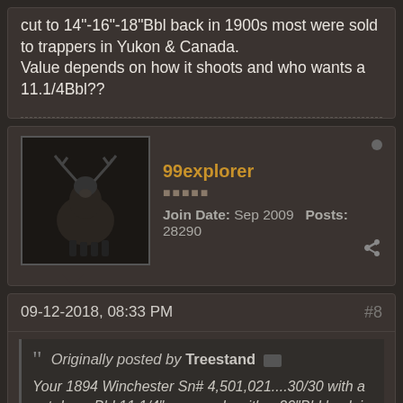cut to 14"-16"-18"Bbl back in 1900s most were sold to trappers in Yukon & Canada. Value depends on how it shoots and who wants a 11.1/4Bbl??
99explorer
Join Date: Sep 2009   Posts: 28290
09-12-2018, 08:33 PM
#8
Originally posted by Treestand
Your 1894 Winchester Sn# 4,501,021....30/30 with a cut down Bbl 11.1/4" was made with a 20"Bbl back in 1977, Not in 1907-8 (43,8985) Send a Pix of front of Bbl with sight & hood. Some Winchester Mod 92s & 94s were factory